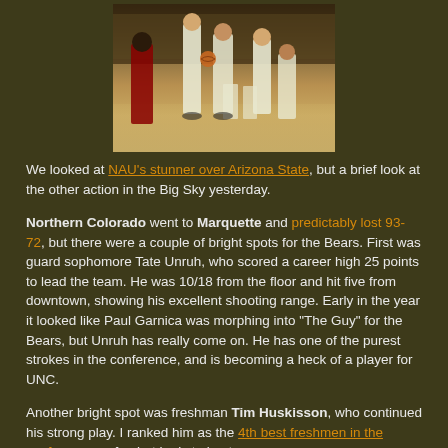[Figure (photo): Basketball players on a court, appears to be a game or practice scene with players in white uniforms]
We looked at NAU's stunner over Arizona State, but a brief look at the other action in the Big Sky yesterday.
Northern Colorado went to Marquette and predictably lost 93-72, but there were a couple of bright spots for the Bears. First was guard sophomore Tate Unruh, who scored a career high 25 points to lead the team. He was 10/18 from the floor and hit five from downtown, showing his excellent shooting range. Early in the year it looked like Paul Garnica was morphing into "The Guy" for the Bears, but Unruh has really come on. He has one of the purest strokes in the conference, and is becoming a heck of a player for UNC.
Another bright spot was freshman Tim Huskisson, who continued his strong play. I ranked him as the 4th best freshmen in the conference so far, but he is trying to move